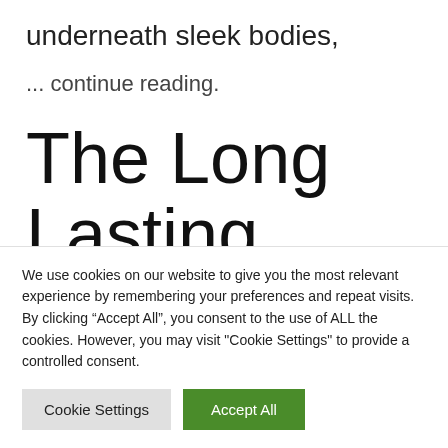underneath sleek bodies,
... continue reading.
The Long Lasting Effects of
We use cookies on our website to give you the most relevant experience by remembering your preferences and repeat visits. By clicking "Accept All", you consent to the use of ALL the cookies. However, you may visit "Cookie Settings" to provide a controlled consent.